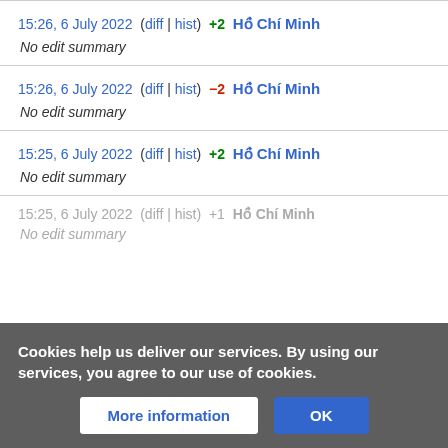15:26, 6 July 2022 (diff | hist) +2 Hồ Chí Minh — No edit summary
15:26, 6 July 2022 (diff | hist) −2 Hồ Chí Minh — No edit summary
15:25, 6 July 2022 (diff | hist) +2 Hồ Chí Minh — No edit summary
15:25, 6 July 2022 (diff | hist) +1 Hồ Chí Minh
Cookies help us deliver our services. By using our services, you agree to our use of cookies.